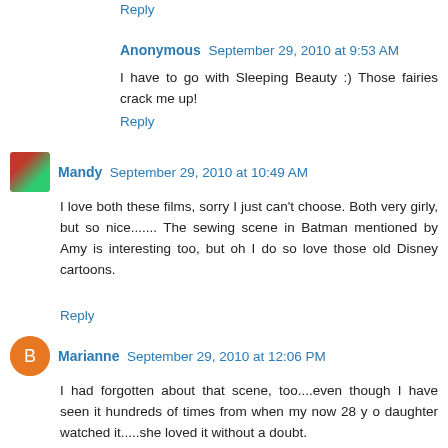Reply
Anonymous   September 29, 2010 at 9:53 AM
I have to go with Sleeping Beauty :) Those fairies crack me up!
Reply
Mandy   September 29, 2010 at 10:49 AM
I love both these films, sorry I just can't choose. Both very girly, but so nice....... The sewing scene in Batman mentioned by Amy is interesting too, but oh I do so love those old Disney cartoons.
Reply
Marianne   September 29, 2010 at 12:06 PM
I had forgotten about that scene, too....even though I have seen it hundreds of times from when my now 28 y o daughter watched it.....she loved it without a doubt.